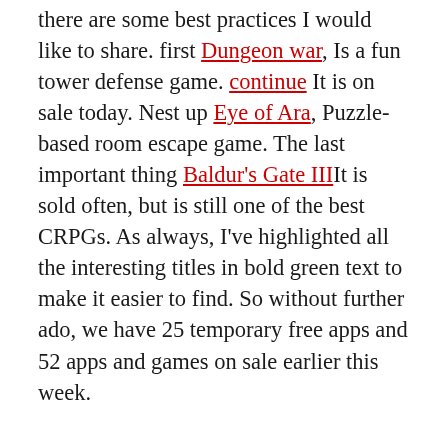there are some best practices I would like to share. first Dungeon war, Is a fun tower defense game. continue It is on sale today. Nest up Eye of Ara, Puzzle-based room escape game. The last important thing Baldur's Gate IIIt is sold often, but is still one of the best CRPGs. As always, I've highlighted all the interesting titles in bold green text to make it easier to find. So without further ado, we have 25 temporary free apps and 52 apps and games on sale earlier this week.